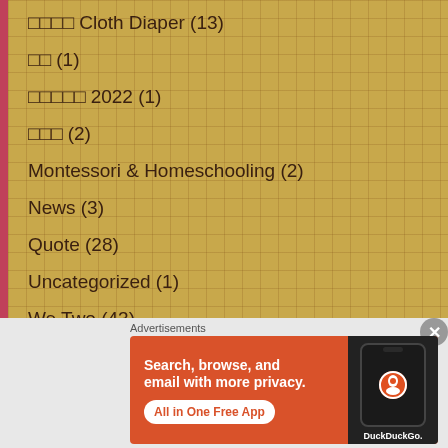□□□□ Cloth Diaper (13)
□□ (1)
□□□□□ 2022 (1)
□□□ (2)
Montessori & Homeschooling (2)
News (3)
Quote (28)
Uncategorized (1)
We Two (43)
□□□□□□ (13)
Advertisements
[Figure (screenshot): DuckDuckGo advertisement banner: 'Search, browse, and email with more privacy. All in One Free App' with DuckDuckGo logo and phone image on orange/red background]